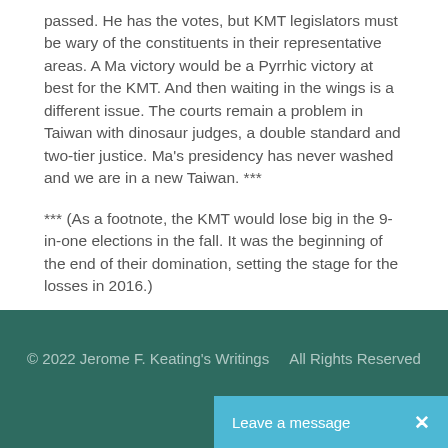passed. He has the votes, but KMT legislators must be wary of the constituents in their representative areas. A Ma victory would be a Pyrrhic victory at best for the KMT. And then waiting in the wings is a different issue. The courts remain a problem in Taiwan with dinosaur judges, a double standard and two-tier justice. Ma's presidency has never washed and we are in a new Taiwan. ***
*** (As a footnote, the KMT would lose big in the 9-in-one elections in the fall. It was the beginning of the end of their domination, setting the stage for the losses in 2016.)
© 2022 Jerome F. Keating's Writings    All Rights Reserved